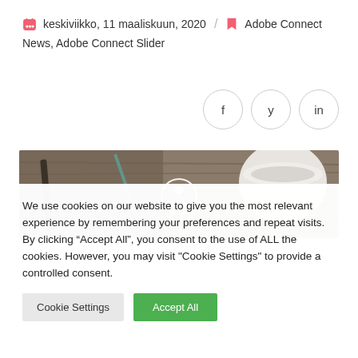keskiviikko, 11 maaliskuun, 2020 / Adobe Connect News, Adobe Connect Slider
[Figure (photo): Banner image showing a coffee cup and phone on a wooden table with a circular play/info button overlay]
We use cookies on our website to give you the most relevant experience by remembering your preferences and repeat visits. By clicking “Accept All”, you consent to the use of ALL the cookies. However, you may visit "Cookie Settings" to provide a controlled consent.